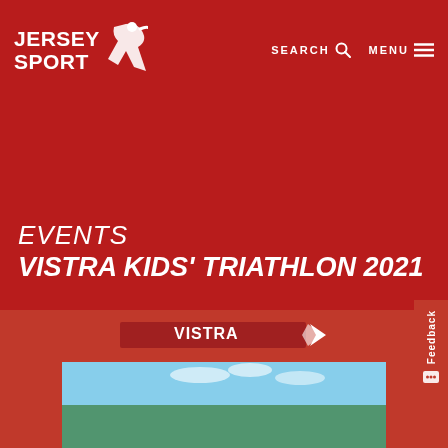JERSEY SPORT
SEARCH   MENU
EVENTS
VISTRA KIDS' TRIATHLON 2021
[Figure (photo): Red inflatable Vistra branded arch/finish line gate against a blue sky with trees in the background]